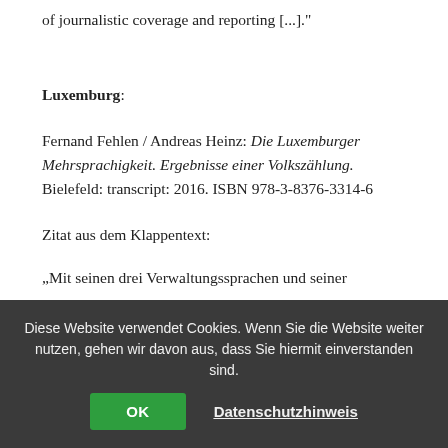of journalistic coverage and reporting [...]."
Luxemburg:
Fernand Fehlen / Andreas Heinz: Die Luxemburger Mehrsprachigkeit. Ergebnisse einer Volkszählung. Bielefeld: transcript: 2016. ISBN 978-3-8376-3314-6
Zitat aus dem Klappentext:
„Mit seinen drei Verwaltungssprachen und seiner
Diese Website verwendet Cookies. Wenn Sie die Website weiter nutzen, gehen wir davon aus, dass Sie hiermit einverstanden sind.
OK
Datenschutzhinweis